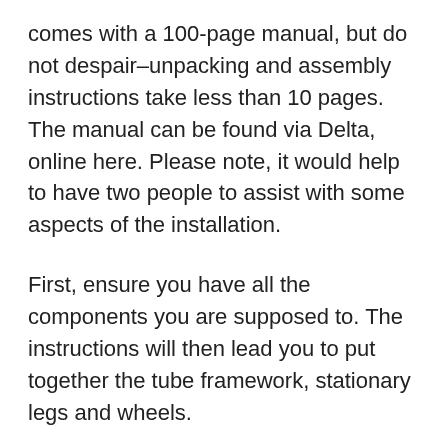comes with a 100-page manual, but do not despair–unpacking and assembly instructions take less than 10 pages. The manual can be found via Delta, online here. Please note, it would help to have two people to assist with some aspects of the installation.
First, ensure you have all the components you are supposed to. The instructions will then lead you to put together the tube framework, stationary legs and wheels.
Next, you will be instructed to put together the rails, followed by the fence guide and power control box. Then, there is the throat plate, blade and riving knife.
After that, follow the directions to install the anti-